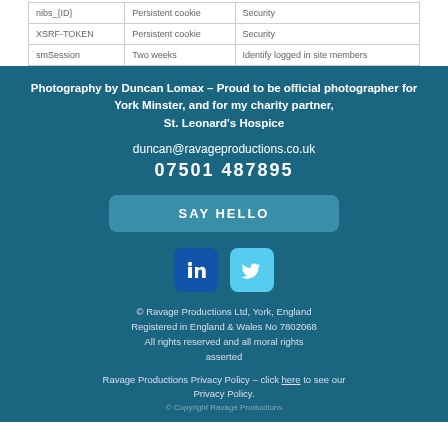| nibs_{ID} | Persistent cookie | Security |
| XSRF-TOKEN | Persistent cookie | Security |
| smSession | Two weeks | Identify logged in site members |
Photography by Duncan Lomax – Proud to be official photographer for York Minster, and for my charity partner, St. Leonard's Hospice
duncan@ravageproductions.co.uk
07501 487895
SAY HELLO
[Figure (logo): LinkedIn and Twitter social media icons]
© Ravage Productions Ltd, York, England
Registered in England & Wales No 7802068
All rights reserved and all moral rights asserted
Ravage Productions Privacy Policy – click here to see our Privacy Policy.
© Copyright Ravage Productions